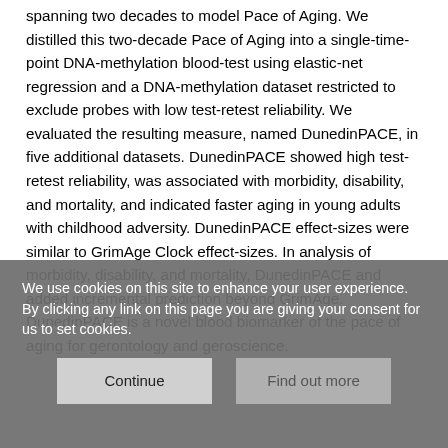spanning two decades to model Pace of Aging. We distilled this two-decade Pace of Aging into a single-time-point DNA-methylation blood-test using elastic-net regression and a DNA-methylation dataset restricted to exclude probes with low test-retest reliability. We evaluated the resulting measure, named DunedinPACE, in five additional datasets. DunedinPACE showed high test-retest reliability, was associated with morbidity, disability, and mortality, and indicated faster aging in young adults with childhood adversity. DunedinPACE effect-sizes were similar to GrimAge Clock effect-sizes. In analysis of morbidity, disability, and mortality, DunedinPACE and added incremental prediction beyond GrimAge. DunedinPACE is a novel blood biomarker of the pace of aging for gerontology and geroscience.
We use cookies on this site to enhance your user experience. By clicking any link on this page you are giving your consent for us to set cookies.